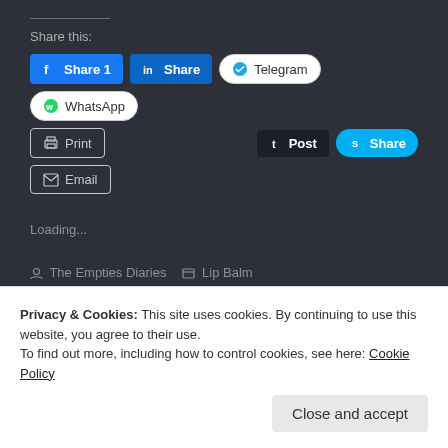Share this:
[Figure (screenshot): Social sharing buttons row: Facebook Share 1, LinkedIn Share, Telegram, WhatsApp]
[Figure (screenshot): Second row of sharing buttons: Print, Tumblr Post, Skype Share]
[Figure (screenshot): Third row: Email button]
Loading...
The Empties Diaries   Lip Balm
Leave a comment   15/12/2018   1 Minute
Privacy & Cookies: This site uses cookies. By continuing to use this website, you agree to their use.
To find out more, including how to control cookies, see here: Cookie Policy
Close and accept